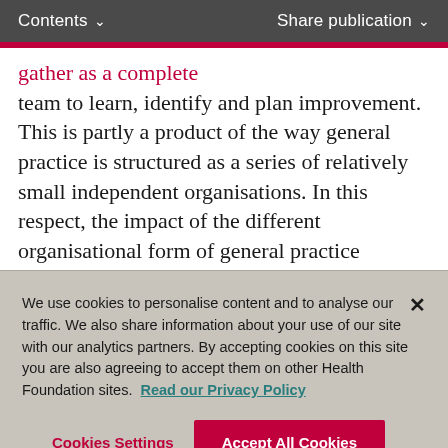Contents ∨   Share publication ∨
...gather as a complete team to learn, identify and plan improvement. This is partly a product of the way general practice is structured as a series of relatively small independent organisations. In this respect, the impact of the different organisational form of general practice compared to the larger organisations of secondary care, with their accompanying organisational infrastructure and formal training policies, should not be underestimated. Also
We use cookies to personalise content and to analyse our traffic. We also share information about your use of our site with our analytics partners. By accepting cookies on this site you are also agreeing to accept them on other Health Foundation sites. Read our Privacy Policy
Cookies Settings   Accept All Cookies